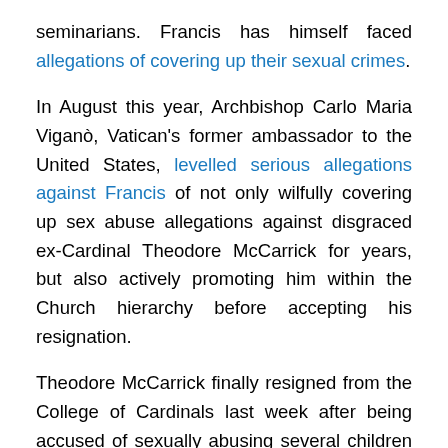seminarians. Francis has himself faced allegations of covering up their sexual crimes. In August this year, Archbishop Carlo Maria Viganò, Vatican's former ambassador to the United States, levelled serious allegations against Francis of not only wilfully covering up sex abuse allegations against disgraced ex-Cardinal Theodore McCarrick for years, but also actively promoting him within the Church hierarchy before accepting his resignation. Theodore McCarrick finally resigned from the College of Cardinals last week after being accused of sexually abusing several children and adult seminarians over the past few decades. When asked he was aware of the allegations of abuse against minors and seminarians perpetrated by former Cardinal McCarrick, Francis said, "I